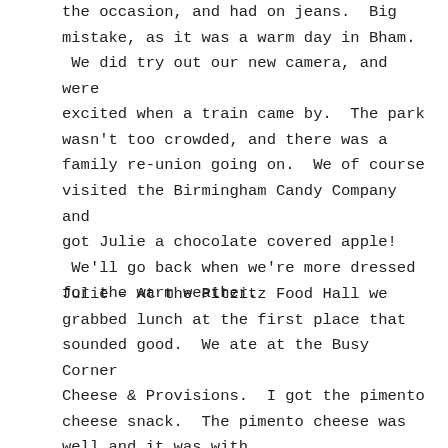the occasion, and had on jeans.  Big mistake, as it was a warm day in Bham.  We did try out our new camera, and were excited when a train came by.  The park wasn't too crowded, and there was a family re-union going on.  We of course visited the Birmingham Candy Company and got Julie a chocolate covered apple!  We'll go back when we're more dressed for the warm weather.
Julie – At the Pitzitz Food Hall we grabbed lunch at the first place that sounded good.  We ate at the Busy Corner Cheese & Provisions.  I got the pimento cheese snack.  The pimento cheese was well…and it was with…